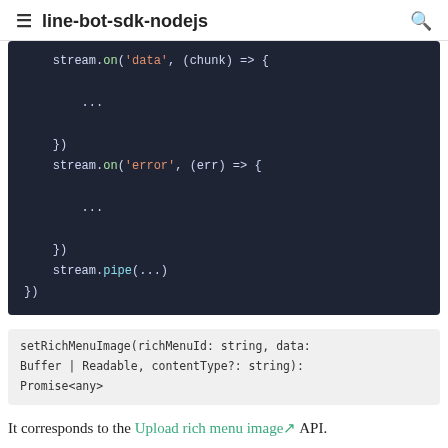line-bot-sdk-nodejs
[Figure (screenshot): Dark-themed code block showing Node.js stream event handler code: stream.on('data', (chunk) => { ... }), stream.on('error', (err) => { ... }), stream.pipe(...), })]
setRichMenuImage(richMenuId: string, data: Buffer | Readable, contentType?: string): Promise<any>
It corresponds to the Upload rich menu image API.
The 1st argument is a rich menu ID. For 2nd argument, a buffer or a readable stream of an image